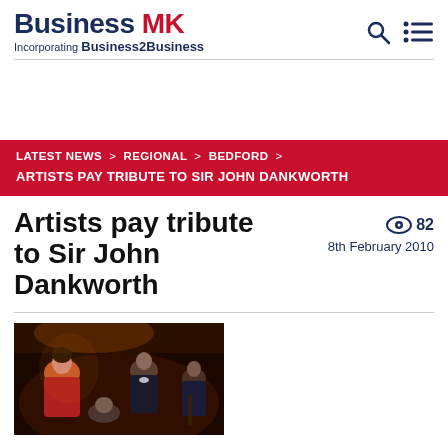Business MK — Incorporating Business2Business
LATEST NEWS > REGIONAL > BEDFORD > ARTISTS PAY TRIBUTE TO SIR JOHN DANKWORTH
Artists pay tribute to Sir John Dankworth
82 views — 8th February 2010
[Figure (photo): Concert performance photo showing musicians and a woman at a music event, dark background]